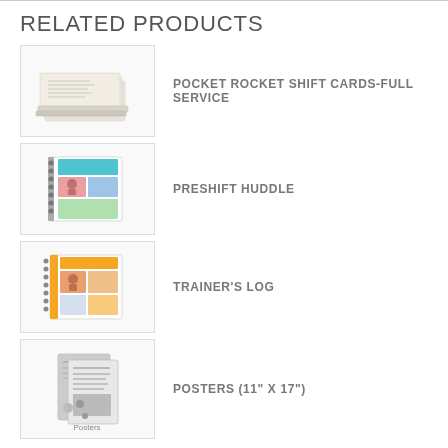RELATED PRODUCTS
POCKET ROCKET SHIFT CARDS-FULL SERVICE
PRESHIFT HUDDLE
TRAINER'S LOG
POSTERS (11" X 17")